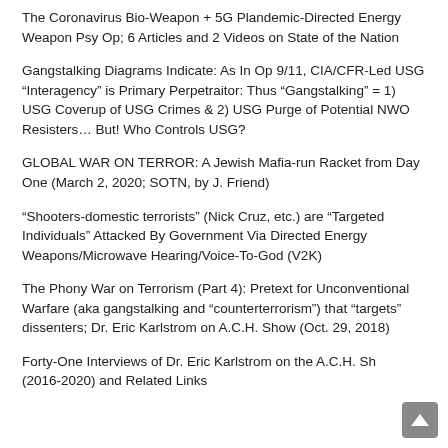The Coronavirus Bio-Weapon + 5G Plandemic-Directed Energy Weapon Psy Op; 6 Articles and 2 Videos on State of the Nation
Gangstalking Diagrams Indicate: As In Op 9/11, CIA/CFR-Led USG “Interagency” is Primary Perpetraitor: Thus “Gangstalking” = 1) USG Coverup of USG Crimes & 2) USG Purge of Potential NWO Resisters… But! Who Controls USG?
GLOBAL WAR ON TERROR: A Jewish Mafia-run Racket from Day One (March 2, 2020; SOTN, by J. Friend)
“Shooters-domestic terrorists” (Nick Cruz, etc.) are “Targeted Individuals” Attacked By Government Via Directed Energy Weapons/Microwave Hearing/Voice-To-God (V2K)
The Phony War on Terrorism (Part 4): Pretext for Unconventional Warfare (aka gangstalking and “counterterrorism”) that “targets” dissenters; Dr. Eric Karlstrom on A.C.H. Show (Oct. 29, 2018)
Forty-One Interviews of Dr. Eric Karlstrom on the A.C.H. Show (2016-2020) and Related Links